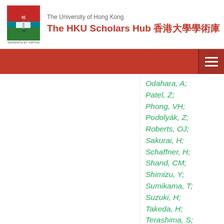The University of Hong Kong — The HKU Scholars Hub 香港大學學術庫
Odahara, A;
Patel, Z;
Phong, VH;
Podolyák, Z;
Roberts, OJ;
Sakurai, H;
Schaffner, H;
Shand, CM;
Shimizu, Y;
Sumikama, T;
Suzuki, H;
Takeda, H;
Terashima, S;
Vajta, Z;
Valiente-Dobón, JJ;
Xu, ZY